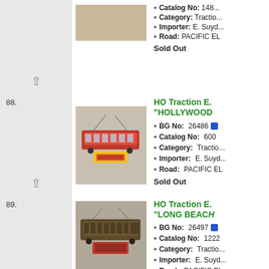Catalog No: [partial] Category: Traction Importer: E. Suyd... Road: PACIFIC EL Sold Out
88.
[Figure (photo): Model train trolley car in red/orange color on display stand in box, item 88]
HO Traction E. "HOLLYWOOD BG No: 26486 Catalog No: 600 Category: Traction Importer: E. Suyd... Road: PACIFIC EL Sold Out
89.
[Figure (photo): Model train trolley car in dark brown/olive color on display stand, item 89]
HO Traction E. "LONG BEACH BG No: 26497 Catalog No: 1222 Category: Traction Importer: E. Suyd... Road: PACIFIC EL Sold Out
90.
[Figure (photo): Model train red electric streetcar on display stand in yellow box, item 90]
HO Traction E. ELECTRIC "LO... BG No: 26498 Catalog No: 1222 Category: Traction Importer: E. Suyd... Road: PACIFIC EL